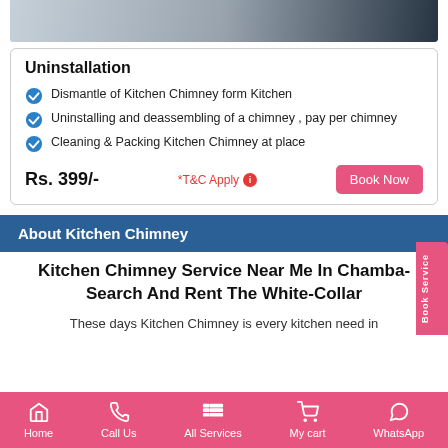[Figure (photo): Partial photo at top of page, appears to be a person in dark clothing]
Uninstallation
Dismantle of Kitchen Chimney form Kitchen
Uninstalling and deassembling of a chimney , pay per chimney
Cleaning & Packing Kitchen Chimney at place
Rs. 399/-   *T&C Apply   Book Now
About Kitchen Chimney
Kitchen Chimney Service Near Me In Chamba- Search And Rent The White-Collar
These days Kitchen Chimney is every kitchen need in
Home   Call Us   All Services   My cart   WhatsApp